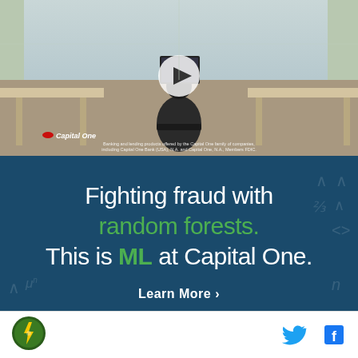[Figure (photo): Video thumbnail showing a person sitting at a desk in a modern office with large windows, with a play button overlay. Capital One logo visible in lower left. Disclaimer text reads: Banking and lending products offered by the Capital One family of companies, including Capital One Bank (USA), N.A. and Capital One, N.A., Members FDIC.]
[Figure (infographic): Dark teal/navy advertisement panel with mathematical symbols in background. White and green text reading: 'Fighting fraud with random forests. This is ML at Capital One.' with a 'Learn More >' button.]
[Figure (logo): Round green and yellow logo icon in page footer, left side]
[Figure (logo): Twitter bird icon (blue) and Facebook 'f' icon (blue) in page footer, right side]